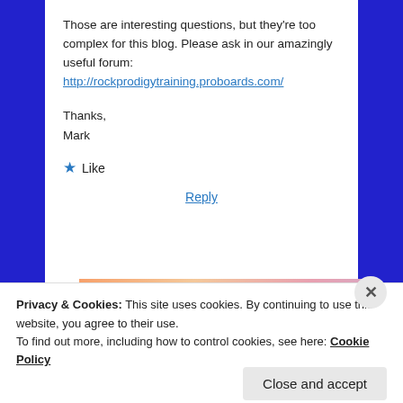Those are interesting questions, but they're too complex for this blog. Please ask in our amazingly useful forum: http://rockprodigytraining.proboards.com/
Thanks,
Mark
★ Like
Reply
[Figure (illustration): Advertisement banner with text 'in the back.' on a warm gradient background (orange, pink, lavender)]
Privacy & Cookies: This site uses cookies. By continuing to use this website, you agree to their use.
To find out more, including how to control cookies, see here: Cookie Policy
Close and accept